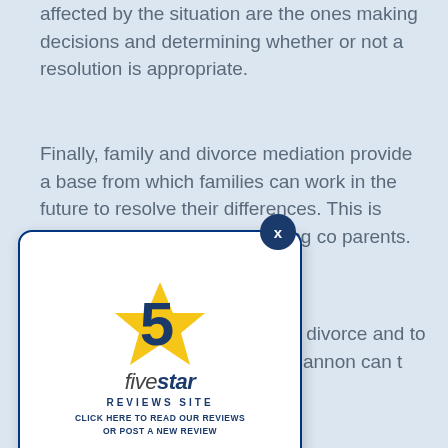affected by the situation are the ones making decisions and determining whether or not a resolution is appropriate.
Finally, family and divorce mediation provide a base from which families can work in the future to resolve their differences. This is especially beneficial to divorcing co parents.
[Figure (logo): Five Star Reviews Site popup widget with a gold star and blue '5' logo, text 'fivestar REVIEWS SITE', and 'CLICK HERE TO READ OUR REVIEWS OR POST A NEW REVIEW'. Has a close button (X) at top right.]
n a family dispute in templating divorce and to someone about the it, James Cannon can t 801.514.6983 or by